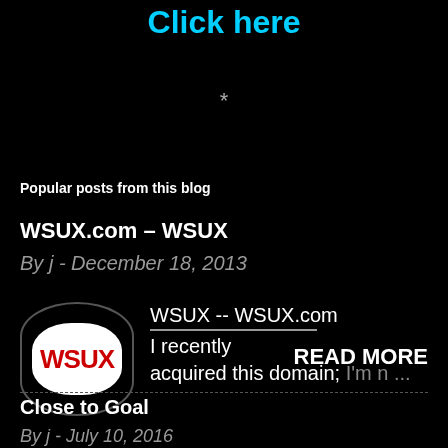Click here
*
Popular posts from this blog
WSUX.com – WSUX
By j - December 18, 2013
[Figure (logo): WSUX logo: white oval with red WSUX letters on black background]
WSUX -- WSUX.com ________________ I recently acquired this domain; I'm n ...
READ MORE
Close to Goal
By j - July 10, 2016